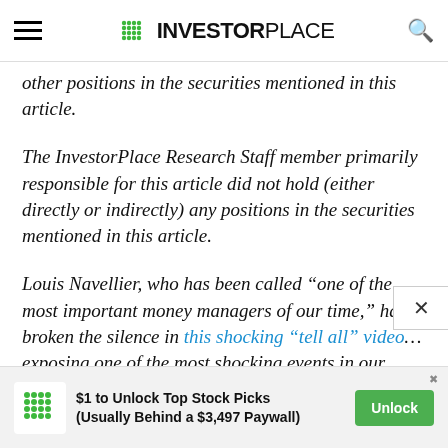INVESTORPLACE
other positions in the securities mentioned in this article.
The InvestorPlace Research Staff member primarily responsible for this article did not hold (either directly or indirectly) any positions in the securities mentioned in this article.
Louis Navellier, who has been called “one of the most important money managers of our time,” has broken the silence in this shocking “tell all” video… exposing one of the most shocking events in our country’s history…
[Figure (other): Advertisement banner: InvestorPlace green dot logo, text '$1 to Unlock Top Stock Picks (Usually Behind a $3,497 Paywall)', green 'Unlock' button]